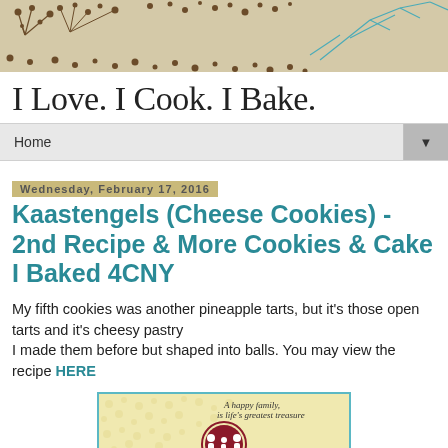[Figure (illustration): Decorative blog header banner with beige/tan background, brown seed/dandelion dot patterns and teal branch/leaf illustrations]
I Love. I Cook. I Bake.
Home ▼
Wednesday, February 17, 2016
Kaastengels (Cheese Cookies) - 2nd Recipe & More Cookies & Cake I Baked 4CNY
My fifth cookies was another pineapple tarts, but it's those open tarts and it's cheesy pastry
I made them before but shaped into balls. You may view the recipe HERE
[Figure (photo): Photo of a cake with teal border, yellow/cream textured background, with circular logo/badge design in dark red/maroon featuring family figures and the text 'A happy family is life's greatest treasure' in cursive]